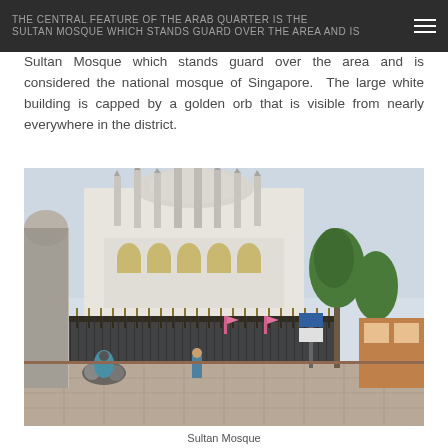The central feature of the Arab Quarter is the Sultan Mosque which stands guard over the area and is considered the national mosque of Singapore.
Sultan Mosque which stands guard over the area and is considered the national mosque of Singapore.  The large white building is capped by a golden orb that is visible from nearly everywhere in the district.
[Figure (photo): Street-level photo of Sultan Mosque in Singapore's Arab Quarter. The white mosque building with minarets is visible behind ornate iron fencing. People and motorcycles are on the foreground street. Trees line the right side of the image.]
Sultan Mosque